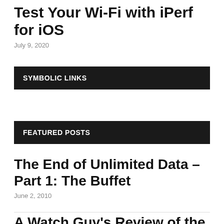Test Your Wi-Fi with iPerf for iOS
July 9, 2020
SYMBOLIC LINKS
FEATURED POSTS
The End of Unlimited Data – Part 1: The Buffet
June 2, 2010
A Watch Guy's Review of the Apple Watch